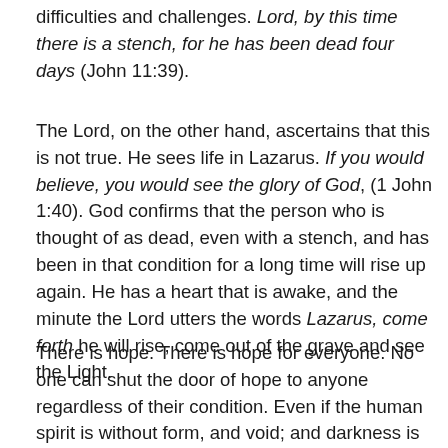difficulties and challenges. Lord, by this time there is a stench, for he has been dead four days (John 11:39).
The Lord, on the other hand, ascertains that this is not true. He sees life in Lazarus. If you would believe, you would see the glory of God, (1 John 1:40). God confirms that the person who is thought of as dead, even with a stench, and has been in that condition for a long time will rise up again. He has a heart that is awake, and the minute the Lord utters the words Lazarus, come forth he will rise, come out of the grave and see the Light.
There is hope. There is hope for everyone. No one can shut the door of hope to anyone regardless of their condition. Even if the human spirit is without form, and void; and darkness is on the face of deep, even if it has developed a stench for lying in the grave for four days,